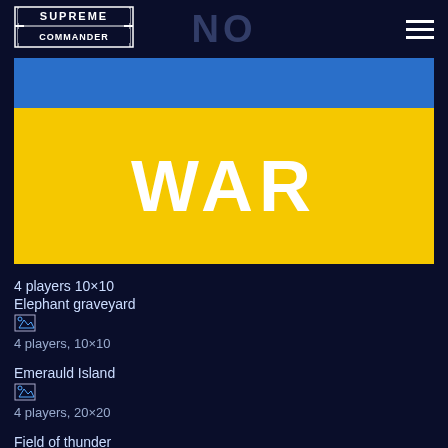Supreme Commander | NO | hamburger menu
[Figure (other): Banner with Ukrainian flag colors (blue top stripe, yellow bottom) with 'WAR' text centered in white on the yellow section]
4 players 10×10
Elephant graveyard
4 players, 10×10
Emerauld Island
4 players, 20×20
Field of thunder
2 players, 5×5